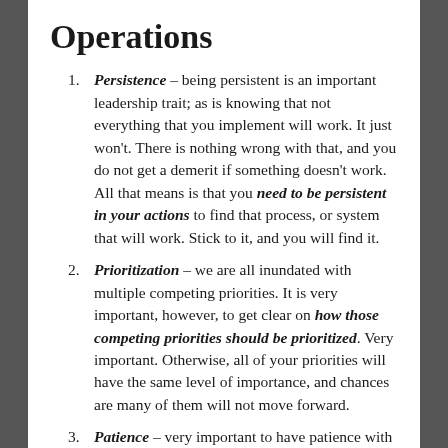Operations
Persistence – being persistent is an important leadership trait; as is knowing that not everything that you implement will work. It just won't. There is nothing wrong with that, and you do not get a demerit if something doesn't work. All that means is that you need to be persistent in your actions to find that process, or system that will work. Stick to it, and you will find it.
Prioritization – we are all inundated with multiple competing priorities. It is very important, however, to get clear on how those competing priorities should be prioritized. Very important. Otherwise, all of your priorities will have the same level of importance, and chances are many of them will not move forward.
Patience – very important to have patience with yourself. When you develop patience with yourself, you will also have more patience with